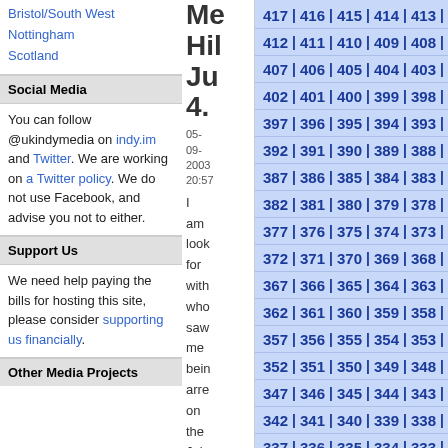Bristol/South West
Nottingham
Scotland
Social Media
You can follow @ukindymedia on indy.im and Twitter. We are working on a Twitter policy. We do not use Facebook, and advise you not to either.
Support Us
We need help paying the bills for hosting this site, please consider supporting us financially.
Other Media Projects
Me Hill Ju 4.
05-09-2003 20:57
I am look for with who saw me bein arre on the July 4, "Inde Day Dem It
[Figure (other): Paginated number list with numbers from 417 down to 282, displayed in blue on light blue background, 5 columns separated by pipe characters]